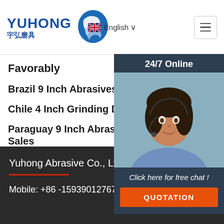[Figure (logo): Yuhong 宇弘磨具 logo with blue wave icon]
English ∨
Favorably
Brazil 9 Inch Abrasives Miniature Using M...
Chile 4 Inch Grinding Discs Alibaba Featu...
Paraguay 9 Inch Abrasives Alibaba Factor... Sales
[Figure (photo): Customer service representative with headset, 24/7 Online chat widget with QUOTATION button]
Yuhong Abrasive Co., Ltd.
Mobile: +86 -15939012767